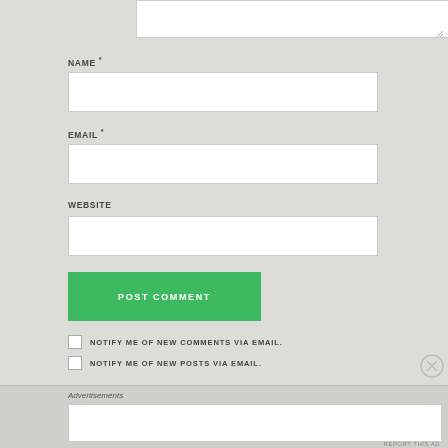[Figure (screenshot): Partial text area input box at top of comment form]
NAME *
[Figure (screenshot): Name input field (empty white text box)]
EMAIL *
[Figure (screenshot): Email input field (empty white text box)]
WEBSITE
[Figure (screenshot): Website input field (empty white text box)]
POST COMMENT
NOTIFY ME OF NEW COMMENTS VIA EMAIL.
NOTIFY ME OF NEW POSTS VIA EMAIL.
Advertisements